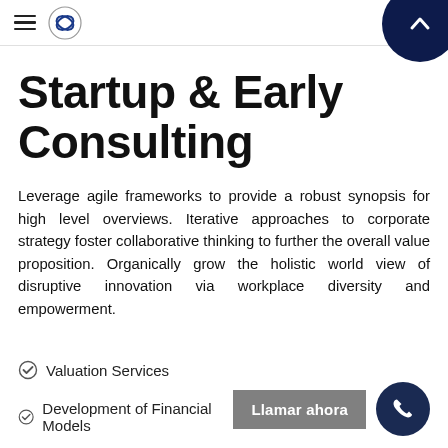Startup & Early Consulting
Leverage agile frameworks to provide a robust synopsis for high level overviews. Iterative approaches to corporate strategy foster collaborative thinking to further the overall value proposition. Organically grow the holistic world view of disruptive innovation via workplace diversity and empowerment.
Valuation Services
Development of Financial Models